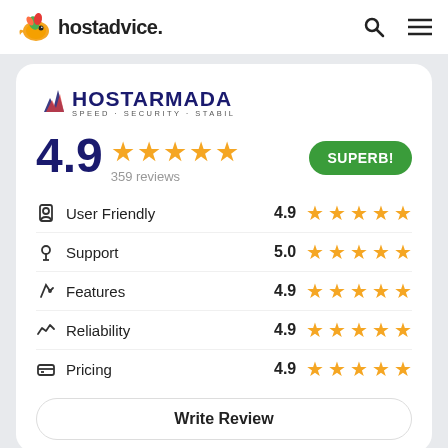hostadvice.
[Figure (logo): HostArmada logo with flame/mountains icon and tagline SPEED · SECURITY · STABILITY]
4.9 ★★★★★ 359 reviews SUPERB!
User Friendly 4.9 ★★★★★
Support 5.0 ★★★★★
Features 4.9 ★★★★★
Reliability 4.9 ★★★★★
Pricing 4.9 ★★★★★
Write Review